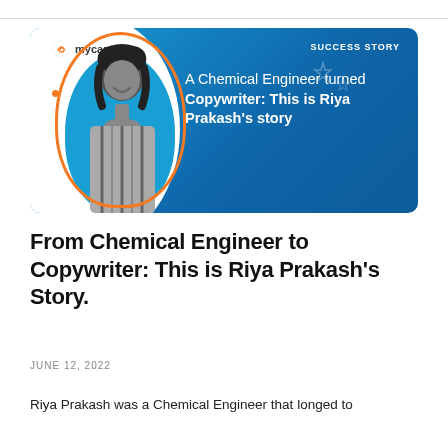[Figure (illustration): MyCaptain success story banner. Blue gradient background with white curved shape on left. MyCaptain logo top-left in white pill. 'SUCCESS STORY' label top-right. Black-and-white photo of young woman smiling with striped outfit, surrounded by blue oval and orange circle outline. Text on right: 'A Chemical Engineer turned Copywriter: This is Riya Prakash's story' in white.]
From Chemical Engineer to Copywriter: This is Riya Prakash's Story.
JUNE 12, 2022
Riya Prakash was a Chemical Engineer that longed to